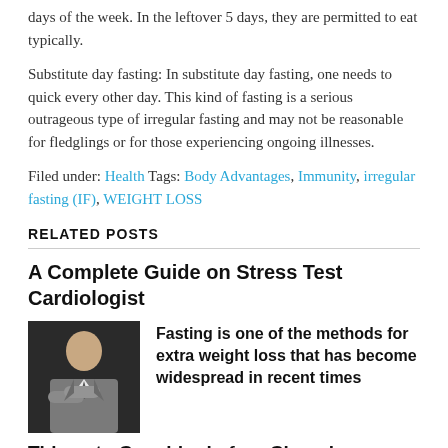days of the week. In the leftover 5 days, they are permitted to eat typically.
Substitute day fasting: In substitute day fasting, one needs to quick every other day. This kind of fasting is a serious outrageous type of irregular fasting and may not be reasonable for fledglings or for those experiencing ongoing illnesses.
Filed under: Health Tags: Body Advantages, Immunity, irregular fasting (IF), WEIGHT LOSS
RELATED POSTS
A Complete Guide on Stress Test Cardiologist
[Figure (photo): Photo of a person in a suit with arms crossed]
Fasting is one of the methods for extra weight loss that has become widespread in recent times
Things to Consider before Choosing a Dental Facility